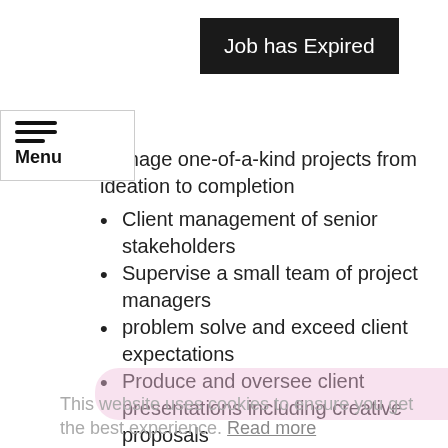[Figure (screenshot): Job has Expired dark banner overlay]
Manage one-of-a-kind projects from ideation to completion
Client management of senior stakeholders
Supervise a small team of project managers
problem solve and exceed client expectations
Produce and oversee client presentations including creative proposals
Full account management focussing on long-term client strategy to ensure projects are leveraged to maximise budgets and KPI's
Establish project strategies to reduce project risk, issues and costs and ensure feasibility of idea
Stakeholder management underpinned by strong professional relationship building